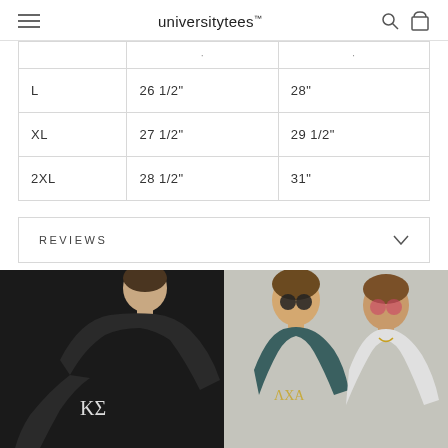universitytees
|  |  |  |
| --- | --- | --- |
|  | · | · |
| L | 26 1/2" | 28" |
| XL | 27 1/2" | 29 1/2" |
| 2XL | 28 1/2" | 31" |
REVIEWS
[Figure (photo): Two side-by-side photos: left shows a young man in a black sweatshirt with Kappa Sigma (ΚΣ) letters bending forward; right shows two young men smiling wearing Lambda Chi Alpha (ΛΧΑ) sweatshirt and another shirt, in front of a light wall.]